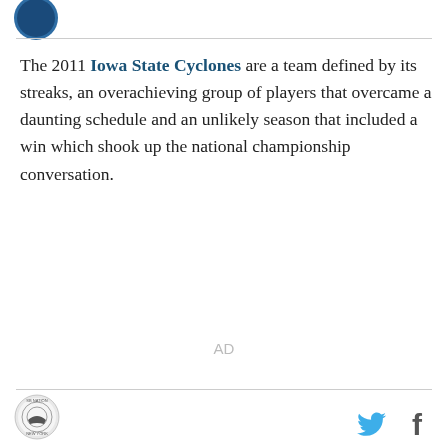[Figure (logo): Partial circular logo visible at top left corner]
The 2011 Iowa State Cyclones are a team defined by its streaks, an overachieving group of players that overcame a daunting schedule and an unlikely season that included a win which shook up the national championship conversation.
AD
[Figure (logo): SB Nation New York circular logo in footer]
[Figure (other): Twitter bird icon in footer]
[Figure (other): Facebook f icon in footer]